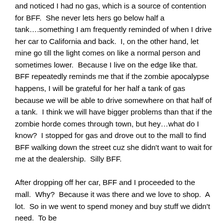and noticed I had no gas, which is a source of contention for BFF.  She never lets hers go below half a tank….something I am frequently reminded of when I drive her car to California and back.  I, on the other hand, let mine go till the light comes on like a normal person and sometimes lower.  Because I live on the edge like that.  BFF repeatedly reminds me that if the zombie apocalypse happens, I will be grateful for her half a tank of gas because we will be able to drive somewhere on that half of a tank.  I think we will have bigger problems than that if the zombie horde comes through town, but hey…what do I know?  I stopped for gas and drove out to the mall to find BFF walking down the street cuz she didn't want to wait for me at the dealership.  Silly BFF.

After dropping off her car, BFF and I proceeded to the mall.  Why?  Because it was there and we love to shop.  A lot.  So in we went to spend money and buy stuff we didn't need.  To be